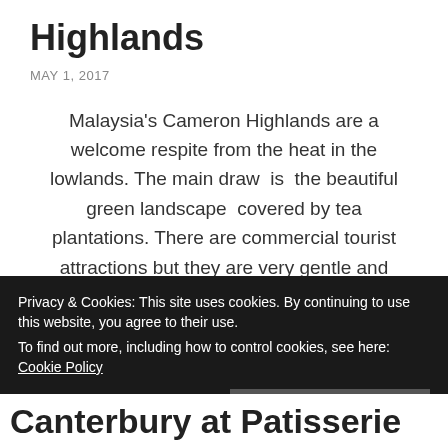Highlands
MAY 1, 2017
Malaysia's Cameron Highlands are a welcome respite from the heat in the lowlands. The main draw  is  the beautiful green landscape  covered by tea plantations. There are commercial tourist attractions but they are very gentle and about tea or wildlife.
Continue reading →
Privacy & Cookies: This site uses cookies. By continuing to use this website, you agree to their use.
To find out more, including how to control cookies, see here: Cookie Policy
Close and accept
Canterbury at Patisserie Valerie